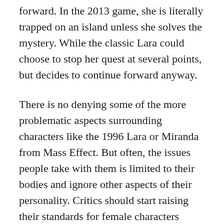forward. In the 2013 game, she is literally trapped on an island unless she solves the mystery. While the classic Lara could choose to stop her quest at several points, but decides to continue forward anyway.
There is no denying some of the more problematic aspects surrounding characters like the 1996 Lara or Miranda from Mass Effect. But often, the issues people take with them is limited to their bodies and ignore other aspects of their personality. Critics should start raising their standards for female characters beyond they exist, and they are dressed conservatively. Until that happens, we will never be able to explore sexuality healthily properly.